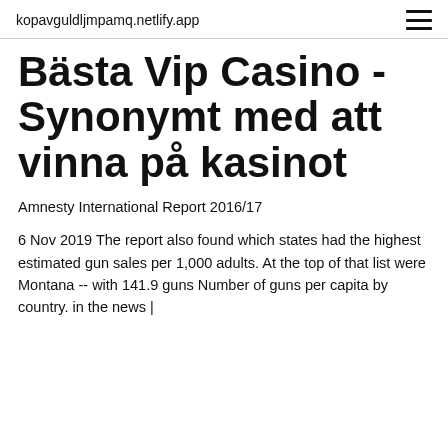kopavguldljmpamq.netlify.app
Bästa Vip Casino - Synonymt med att vinna på kasinot
Amnesty International Report 2016/17
6 Nov 2019 The report also found which states had the highest estimated gun sales per 1,000 adults. At the top of that list were Montana -- with 141.9 guns Number of guns per capita by country. in the news |